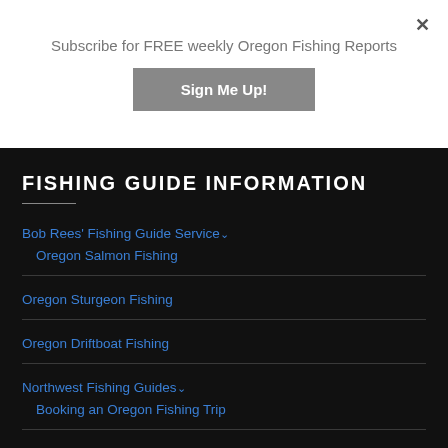Subscribe for FREE weekly Oregon Fishing Reports
[Figure (other): Sign Me Up! button - dark gray rectangular button with white bold text]
FISHING GUIDE INFORMATION
Bob Rees' Fishing Guide Service
Oregon Salmon Fishing
Oregon Sturgeon Fishing
Oregon Driftboat Fishing
Northwest Fishing Guides
Booking an Oregon Fishing Trip